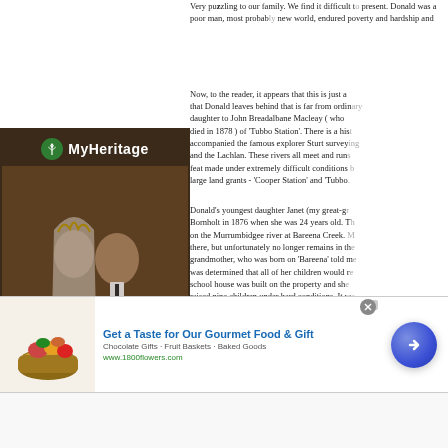Very puzzling to our family. We find it difficult to present. Donald was a poor man, most probably new world, endured poverty and hardship and
Now, to the reader, it appears that this is just a that Donald leaves behind that is far from ordinary daughter to John Breadalbane Macleay ( who died in 1878 ) of 'Tubbo Station'. There is a history accompanied the famous explorer Sturt surveying and the Lachlan. These rivers all meet and run feat made under extremely difficult conditions large land grants - 'Cooper Station' and 'Tubbo
[Figure (photo): MyHeritage advertisement featuring a sepia-toned wedding photo of a bride and groom, with the MyHeritage logo (tree icon and text) displayed at the top on a dark brown background.]
Donald's youngest daughter Janet (my great-g Bornholt in 1876 when she was 24 years old. T on the Murrumbidgee river at Bareena Creek. there, but unfortunately no longer remains in th grandmother, who was born on 'Bareena' told me was determined that all of her children would r school house was built on the property and she raised nine children under hard conditions. It w township was 50 miles away and I recall my gr
[Figure (infographic): Advertisement banner for 1800flowers.com: 'Get a Taste for Our Gourmet Food & Gift' with subtitle 'Chocolate Gifts - Fruit Baskets - Baked Goods' and URL 'www.1800flowers.com', featuring a basket of food gifts image on the left and a blue circular arrow button on the right.]